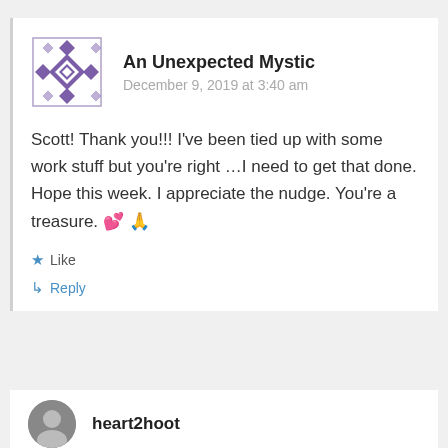[Figure (logo): Avatar icon for 'An Unexpected Mystic' — a decorative geometric tile pattern in purple/white with diamond shapes]
An Unexpected Mystic
December 9, 2019 at 3:40 am
Scott! Thank you!!! I've been tied up with some work stuff but you're right …I need to get that done. Hope this week. I appreciate the nudge. You're a treasure. 💕 🙏
Like
Reply
[Figure (photo): Circular avatar photo of user 'heart2hoot', grayscale image of a person]
heart2hoot